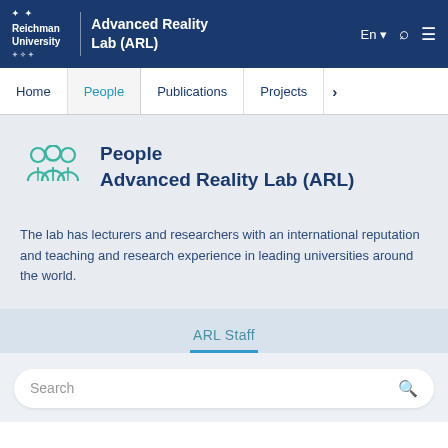Reichman University | Advanced Reality Lab (ARL)
Home | People | Publications | Projects
People
Advanced Reality Lab (ARL)
The lab has lecturers and researchers with an international reputation and teaching and research experience in leading universities around the world.
ARL Staff
Search